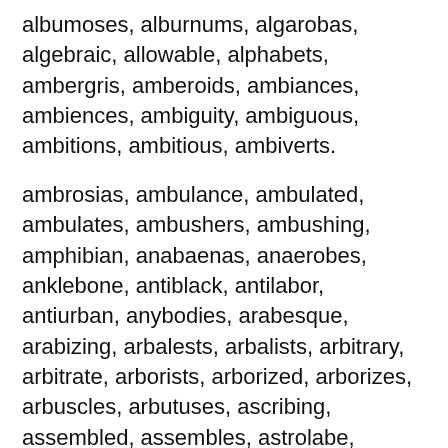albumoses, alburnums, algarobas, algebraic, allowable, alphabets, ambergris, amberoids, ambiances, ambiences, ambiguity, ambiguous, ambitions, ambitious, ambiverts.
ambrosias, ambulance, ambulated, ambulates, ambushers, ambushing, amphibian, anabaenas, anaerobes, anklebone, antiblack, antilabor, antiurban, anybodies, arabesque, arabizing, arbalests, arbalists, arbitrary, arbitrate, arborists, arborized, arborizes, arbuscles, arbutuses, ascribing, assembled, assembles, astrolabe, attribute, autobahns, autobuses, available, avoidable.
babbitted, babblings, babirusas, babushkas, babyhoods, baccarats, bacchants, bachelors, bacillary, backaches, backarrow, backbends, backbiter, backbites, backbones, backdrops, backfills, backfired, backfires, backbends, backlists,